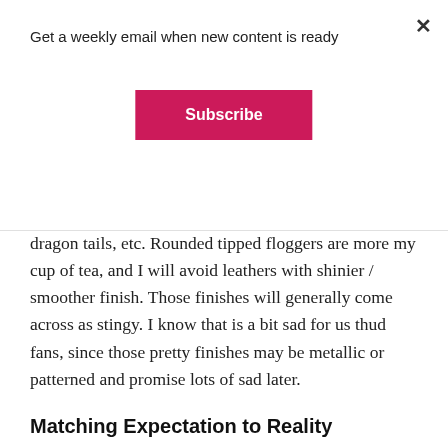Get a weekly email when new content is ready
Subscribe
dragon tails, etc. Rounded tipped floggers are more my cup of tea, and I will avoid leathers with shinier / smoother finish. Those finishes will generally come across as stingy. I know that is a bit sad for us thud fans, since those pretty finishes may be metallic or patterned and promise lots of sad later.
Matching Expectation to Reality
Knowledge and information are your friends. Learn about the ranges of sensation available in an implement. Floggers tend to be thought of as thuddy in general, though a skilled Maker can build